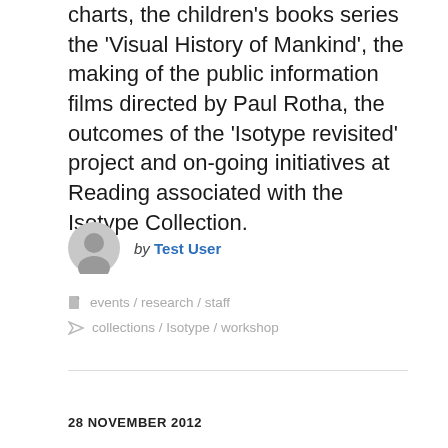charts, the children's books series the 'Visual History of Mankind', the making of the public information films directed by Paul Rotha, the outcomes of the 'Isotype revisited' project and on-going initiatives at Reading associated with the Isotype Collection.
by Test User
events / research / staff
collections / Isotype / workshop
28 NOVEMBER 2012